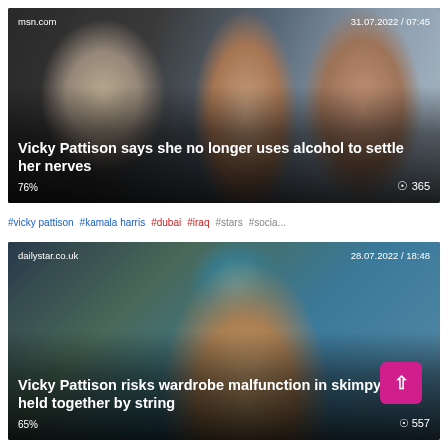[Figure (photo): News article card with photo of Vicky Pattison and a couple kissing, source msn.com, date 31.07.2022 / 07:45, headline about alcohol and nerves, 76% and 365 views]
#vicky pattison #kamala harris #dubai #iraq #stars #socia...
[Figure (photo): News article card with photo of woman in colorful head wrap by a pool, source dailystar.co.uk, date 28.07.2022 / 18:48, headline about wardrobe malfunction in skimpy bikini held together by string, 65% and 557 views]